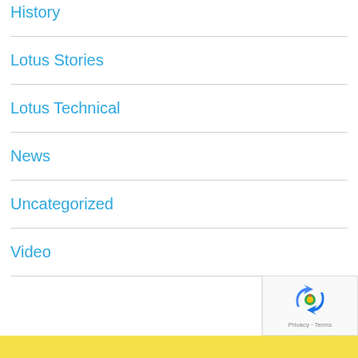History
Lotus Stories
Lotus Technical
News
Uncategorized
Video
[Figure (other): reCAPTCHA widget with spinning arrows logo and Privacy - Terms text]